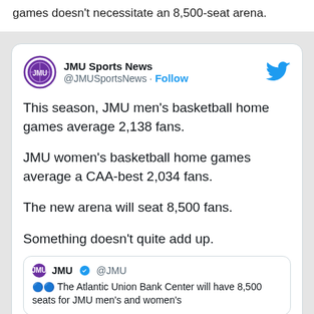games doesn't necessitate an 8,500-seat arena.
[Figure (screenshot): A tweet from @JMUSportsNews (JMU Sports News) with a Follow button and Twitter bird logo. Tweet text: 'This season, JMU men's basketball home games average 2,138 fans. JMU women's basketball home games average a CAA-best 2,034 fans. The new arena will seat 8,500 fans. Something doesn't quite add up.' Contains a quoted tweet from @JMU (JMU, verified): '•• The Atlantic Union Bank Center will have 8,500 seats for JMU men's and women's']